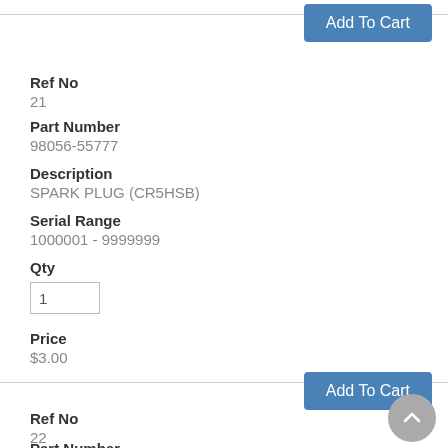Add To Cart
Ref No
21
Part Number
98056-55777
Description
SPARK PLUG (CR5HSB)
Serial Range
1000001 - 9999999
Qty
1
Price
$3.00
Add To Cart
Ref No
22
Part Number